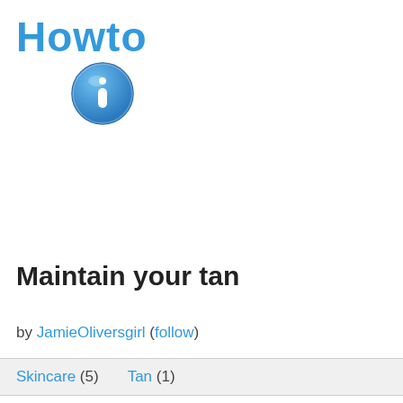[Figure (logo): Howto logo with blue bold text 'Howto' and a blue info circle icon below]
Maintain your tan
by JamieOliversgirl (follow)
Skincare (5)   Tan (1)